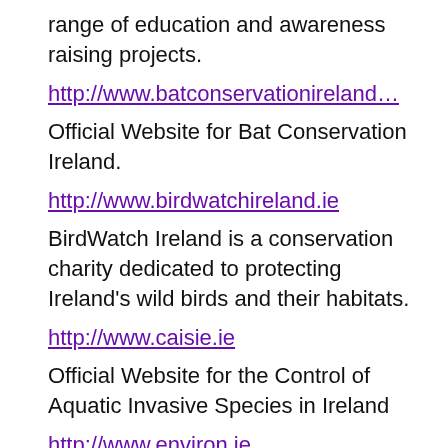range of education and awareness raising projects.
http://www.batconservationireland…
Official Website for Bat Conservation Ireland.
http://www.birdwatchireland.ie
BirdWatch Ireland is a conservation charity dedicated to protecting Ireland's wild birds and their habitats.
http://www.caisie.ie
Official Website for the Control of Aquatic Invasive Species in Ireland
http://www.environ.ie